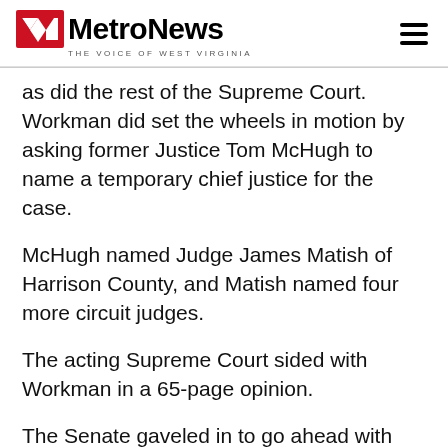MetroNews — THE VOICE OF WEST VIRGINIA
as did the rest of the Supreme Court. Workman did set the wheels in motion by asking former Justice Tom McHugh to name a temporary chief justice for the case.
McHugh named Judge James Matish of Harrison County, and Matish named four more circuit judges.
The acting Supreme Court sided with Workman in a 65-page opinion.
The Senate gaveled in to go ahead with her trial, but the presiding judge required by the state Constitution didn't not viola